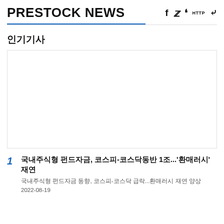PRESTOCK NEWS
인기기사
[Figure (other): Advertisement or empty image box]
1 국내주식형 펀드자금, 코스피-코스닥동반 1조...'환매러시' 재연
국내주식형 펀드자금 동향, 코스피-코스닥 급락...환매러시 재연 양상
2022-08-19